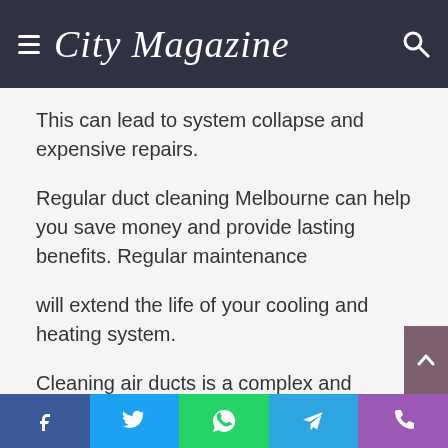City Magazine
This can lead to system collapse and expensive repairs.
Regular duct cleaning Melbourne can help you save money and provide lasting benefits. Regular maintenance
will extend the life of your cooling and heating system.
Cleaning air ducts is a complex and laborious process that should be highlighted.
It is essential to have your HVAC units professionally cleaned by ducted heating Melbourne professionals, as they